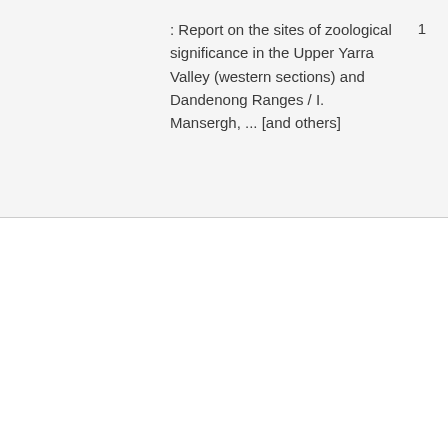: Report on the sites of zoological significance in the Upper Yarra Valley (western sections) and Dandenong Ranges / I. Mansergh, ... [and others]
1
Wildlife conservation -- Australia -- Victoria -- Western District
1987